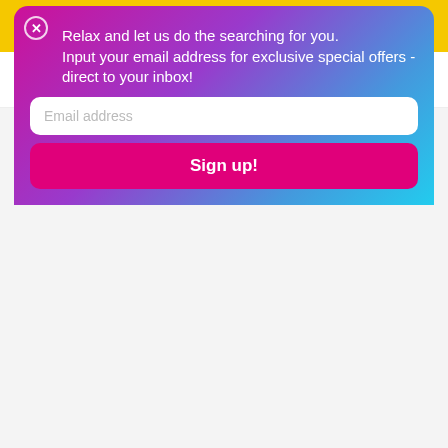[Figure (screenshot): Yellow advertisement banner: 'Sell Your Car - Get up to £1,000 More For Your Car!' with 'Sell Your Car' button and X close button]
[Figure (logo): Moneyshake logo: 'moneyshake' with wifi-style icon, tagline 'Shake. Deal. Drive.' and hamburger menu icon]
[Figure (photo): Aerial photo of dense green tree canopy / forest foliage]
[Figure (screenshot): Email signup popup with gradient background (pink to blue). Close X button, text: 'Relax and let us do the searching for you. Input your email address for exclusive special offers - direct to your inbox!', email input field, and 'Sign up!' button]